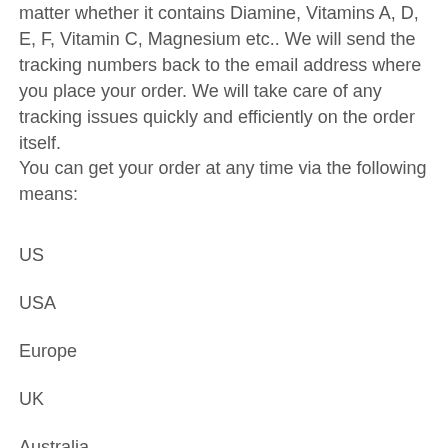matter whether it contains Diamine, Vitamins A, D, E, F, Vitamin C, Magnesium etc.. We will send the tracking numbers back to the email address where you place your order. We will take care of any tracking issues quickly and efficiently on the order itself.
You can get your order at any time via the following means:
US
USA
Europe
UK
Australia
France